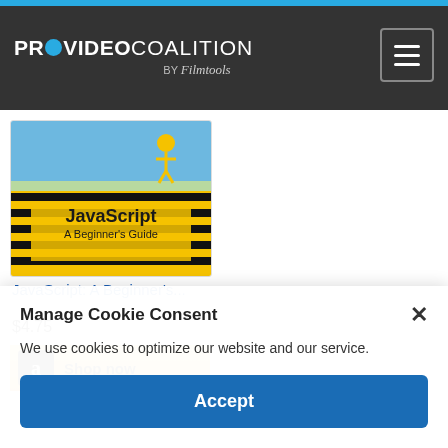[Figure (logo): ProVideoCoalition by Filmtools logo in white text on dark background with blue eye icon]
[Figure (screenshot): JavaScript: A Beginner's Guide book cover - yellow and black with JavaScript title text]
JavaScript: A Beginner's...
$4.75
[Figure (other): Amazon Shop now button with Amazon logo]
Manage Cookie Consent
We use cookies to optimize our website and our service.
Accept